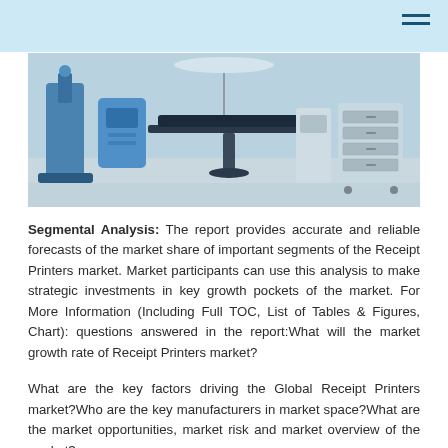[Figure (photo): Medical/operating room with surgical table, blue medical equipment, carts and drawers in a clinical setting]
Segmental Analysis: The report provides accurate and reliable forecasts of the market share of important segments of the Receipt Printers market. Market participants can use this analysis to make strategic investments in key growth pockets of the market. For More Information (Including Full TOC, List of Tables & Figures, Chart): questions answered in the report:What will the market growth rate of Receipt Printers market?
What are the key factors driving the Global Receipt Printers market?Who are the key manufacturers in market space?What are the market opportunities, market risk and market overview of the market?
What are sales, revenue, and price analysis of top manufacturers of Receipt Printers market?Who are the